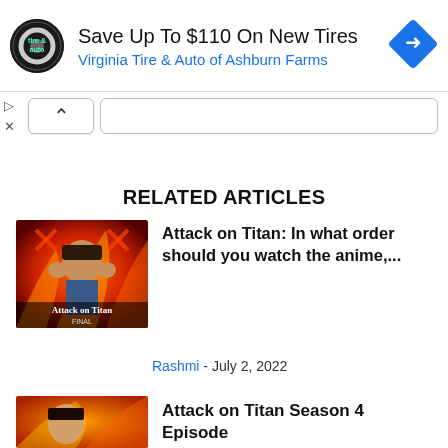[Figure (screenshot): Ad banner for Virginia Tire & Auto of Ashburn Farms with circular logo, headline 'Save Up To $110 On New Tires', and blue navigation arrow icon]
Save Up To $110 On New Tires
Virginia Tire & Auto of Ashburn Farms
[Figure (screenshot): Collapse/accordion button bar with upward caret button on left]
RELATED ARTICLES
[Figure (illustration): Attack on Titan anime thumbnail showing character with hands on head, fiery background, with 'Attack on Titan' text overlay]
Attack on Titan: In what order should you watch the anime,...
Rashmi - July 2, 2022
[Figure (illustration): Attack on Titan Season 4 anime thumbnail]
Attack on Titan Season 4 Episode